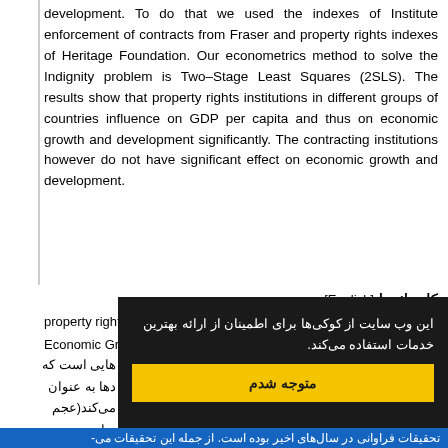development. To do that we used the indexes of Institute enforcement of contracts from Fraser and property rights indexes of Heritage Foundation. Our econometrics method to solve the Indignity problem is Two-Stage Least Squares (2SLS). The results show that property rights institutions in different groups of countries influence on GDP per capita and thus on economic growth and development significantly. The contracting institutions however do not have significant effect on economic growth and development.
کلیدواژه‌ها [English]
property right institutions، contracting institutions،
Economic Growth، Iranian economy
این وب سایت از کوکی ها برای اطمینان از ارائه بهترین خدمات استفاده می‌کند.
متوجه شدم
Persian body text (partially obscured)
تحقیقات فراوانی در سال‌های اخیر بوده است. از جمله این تحقیقات می-